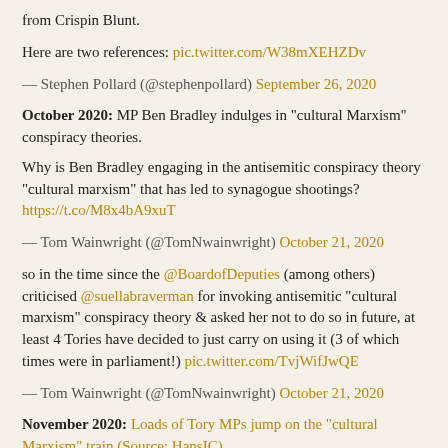from Crispin Blunt.
Here are two references: pic.twitter.com/W38mXEHZDv
— Stephen Pollard (@stephenpollard) September 26, 2020
October 2020: MP Ben Bradley indulges in "cultural Marxism" conspiracy theories.
Why is Ben Bradley engaging in the antisemitic conspiracy theory "cultural marxism" that has led to synagogue shootings? https://t.co/M8x4bA9xuT
— Tom Wainwright (@TomNwainwright) October 21, 2020
so in the time since the @BoardofDeputies (among others) criticised @suellabraverman for invoking antisemitic "cultural marxism" conspiracy theory & asked her not to do so in future, at least 4 Tories have decided to just carry on using it (3 of which times were in parliament!) pic.twitter.com/TvjWifJwQE
— Tom Wainwright (@TomNwainwright) October 21, 2020
November 2020: Loads of Tory MPs jump on the "cultural Marxism" train (Source: HansIC)